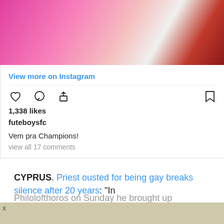[Figure (photo): Cropped photo showing people, one in pink/magenta clothing, another shirtless, partially visible at top of Instagram card]
View more on Instagram
1,338 likes
futeboysfc
Vem pra Champions!
view all 17 comments
CYPRUS. Priest ousted for being gay breaks silence after 20 years: “In Philolofthoros on Sunday he brought up